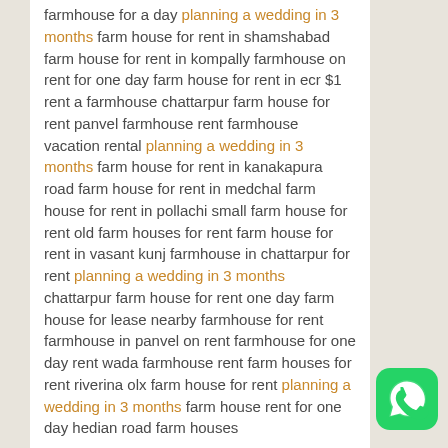farmhouse for a day planning a wedding in 3 months farm house for rent in shamshabad farm house for rent in kompally farmhouse on rent for one day farm house for rent in ecr $1 rent a farmhouse chattarpur farm house for rent panvel farmhouse rent farmhouse vacation rental planning a wedding in 3 months farm house for rent in kanakapura road farm house for rent in medchal farm house for rent in pollachi small farm house for rent old farm houses for rent farm house for rent in vasant kunj farmhouse in chattarpur for rent planning a wedding in 3 months chattarpur farm house for rent one day farm house for lease nearby farmhouse for rent farmhouse in panvel on rent farmhouse for one day rent wada farmhouse rent farm houses for rent riverina olx farm house for rent planning a wedding in 3 months farm house rent for one day hedian road farm houses
[Figure (logo): WhatsApp green rounded square icon with white phone handset in speech bubble]